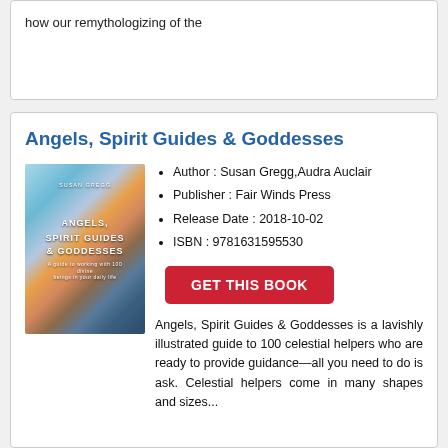how our remythologizing of the
Angels, Spirit Guides & Goddesses
[Figure (illustration): Book cover of Angels, Spirit Guides & Goddesses showing illustrated celestial figures with flowing hair and colorful artwork]
Author : Susan Gregg,Audra Auclair
Publisher : Fair Winds Press
Release Date : 2018-10-02
ISBN : 9781631595530
GET THIS BOOK
Angels, Spirit Guides & Goddesses is a lavishly illustrated guide to 100 celestial helpers who are ready to provide guidance—all you need to do is ask. Celestial helpers come in many shapes and sizes...